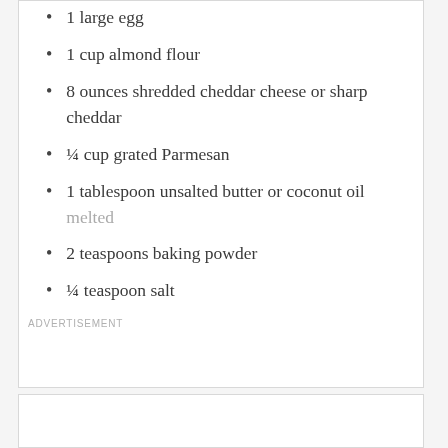1 large egg
1 cup almond flour
8 ounces shredded cheddar cheese or sharp cheddar
¼ cup grated Parmesan
1 tablespoon unsalted butter or coconut oil melted
2 teaspoons baking powder
¼ teaspoon salt
ADVERTISEMENT